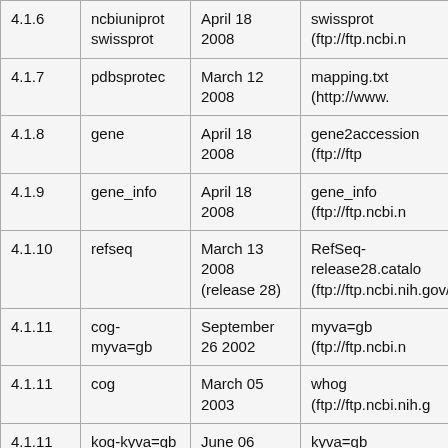| Version | Name | Date | Source |
| --- | --- | --- | --- |
| 4.1.6 | ncbiuniprot
swissprot | April 18
2008 | swissprot (ftp://ftp.ncbi.n |
| 4.1.7 | pdbsprotec | March 12
2008 | mapping.txt (http://www. |
| 4.1.8 | gene | April 18
2008 | gene2accession (ftp://ftp |
| 4.1.9 | gene_info | April 18
2008 | gene_info (ftp://ftp.ncbi.n |
| 4.1.10 | refseq | March 13
2008
(release 28) | RefSeq-release28.catalo
(ftp://ftp.ncbi.nih.gov/refs |
| 4.1.11 | cog-myva=gb | September
26 2002 | myva=gb (ftp://ftp.ncbi.n |
| 4.1.11 | cog | March 05
2003 | whog (ftp://ftp.ncbi.nih.g |
| 4.1.11 | kog-kyva=gb | June 06
2003 | kyva=gb (ftp://ftp.ncbi.ni |